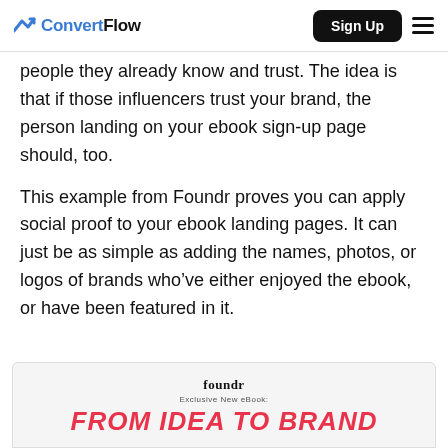ConvertFlow | Sign Up
people they already know and trust. The idea is that if those influencers trust your brand, the person landing on your ebook sign-up page should, too.
This example from Foundr proves you can apply social proof to your ebook landing pages. It can just be as simple as adding the names, photos, or logos of brands who've either enjoyed the ebook, or have been featured in it.
[Figure (screenshot): Foundr ebook landing page preview showing 'FROM IDEA TO BRAND' title in red italic text on light background]